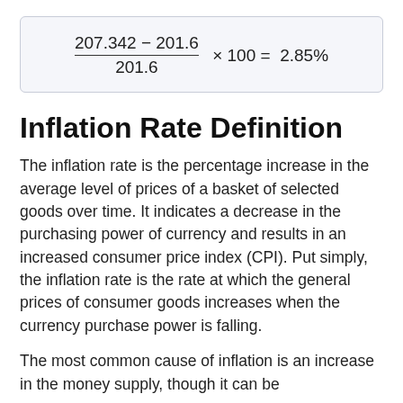Inflation Rate Definition
The inflation rate is the percentage increase in the average level of prices of a basket of selected goods over time. It indicates a decrease in the purchasing power of currency and results in an increased consumer price index (CPI). Put simply, the inflation rate is the rate at which the general prices of consumer goods increases when the currency purchase power is falling.
The most common cause of inflation is an increase in the money supply, though it can be caused by many different circumstances.